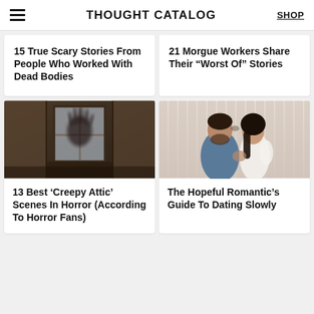THOUGHT CATALOG
15 True Scary Stories From People Who Worked With Dead Bodies
21 Morgue Workers Share Their “Worst Of” Stories
[Figure (photo): Dark horror photo of a silhouette of a hand pressed against a frosted/dirty window in an old building]
13 Best ‘Creepy Attic’ Scenes In Horror (According To Horror Fans)
[Figure (photo): Photo of a couple embracing, man and woman with dark hair leaning heads together, against a light striped background]
The Hopeful Romantic’s Guide To Dating Slowly